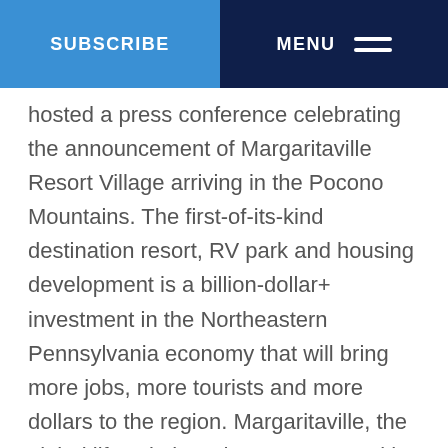SUBSCRIBE | MENU
hosted a press conference celebrating the announcement of Margaritaville Resort Village arriving in the Pocono Mountains. The first-of-its-kind destination resort, RV park and housing development is a billion-dollar+ investment in the Northeastern Pennsylvania economy that will bring more jobs, more tourists and more dollars to the region. Margaritaville, the global lifestyle brand synonymous with fun and escapism, has also offered to donate a large portion of land for a proposed Amtrak station to be built.
“As we continue to make progress in our efforts to